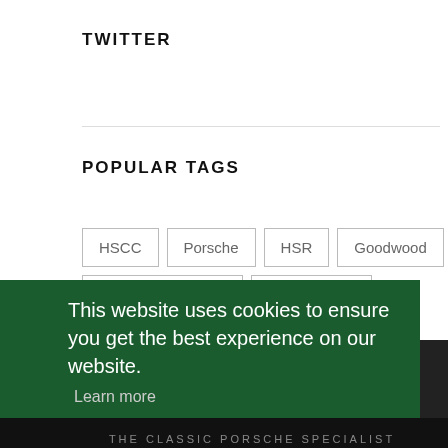TWITTER
POPULAR TAGS
HSCC
Porsche
HSR
Goodwood
Silverstone Classic
Formula One
Touring Car Masters
Peter Auto
Rallying
This website uses cookies to ensure you get the best experience on our website. Learn more
I ACCEPT
THE CLASSIC PORSCHE SPECIALIST